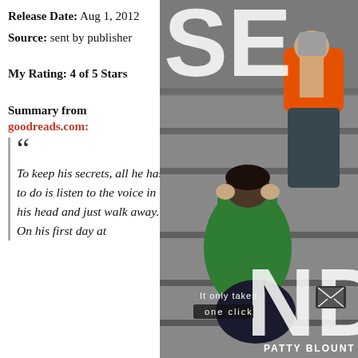Release Date: Aug 1, 2012
Source: sent by publisher
My Rating: 4 of 5 Stars
Summary from goodreads.com:
To keep his secrets, all he has to do is listen to the voice in his head and just walk away... On his first day at
[Figure (photo): Book cover for 'Send' by Patty Blount. Shows two teenagers sitting on steps, one in a green hoodie with head in hands, another in orange. Large letters 'SE' and 'ND' visible. Text reads 'It only takes one click'. Publisher: Patty Blount.]